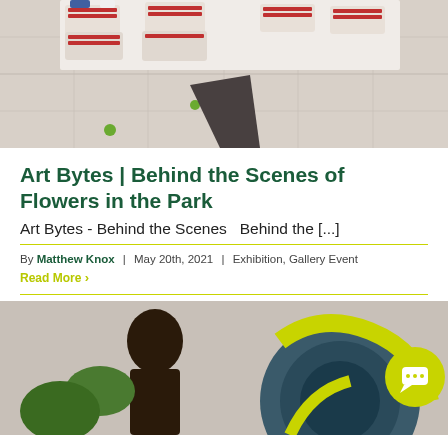[Figure (photo): Photo of an art installation with bags of flour/rice stacked on white tiled floor]
Art Bytes | Behind the Scenes of Flowers in the Park
Art Bytes - Behind the Scenes  Behind the [...]
By Matthew Knox  |  May 20th, 2021  |  Exhibition, Gallery Event
Read More >
[Figure (photo): Partial photo of a person and an art installation with teal/dark blue circular shapes and lime green accents, with a chat bubble icon overlay]